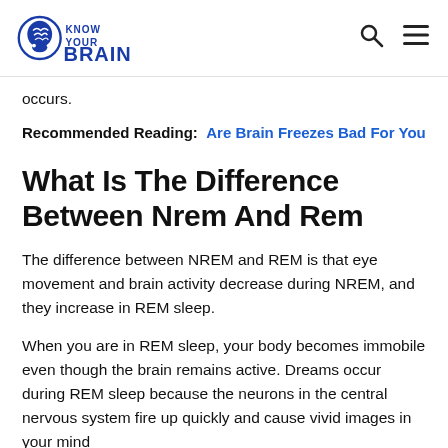Know Your Brain
occurs.
Recommended Reading:  Are Brain Freezes Bad For You
What Is The Difference Between Nrem And Rem
The difference between NREM and REM is that eye movement and brain activity decrease during NREM, and they increase in REM sleep.
When you are in REM sleep, your body becomes immobile even though the brain remains active. Dreams occur during REM sleep because the neurons in the central nervous system fire up quickly and cause vivid images in your mind